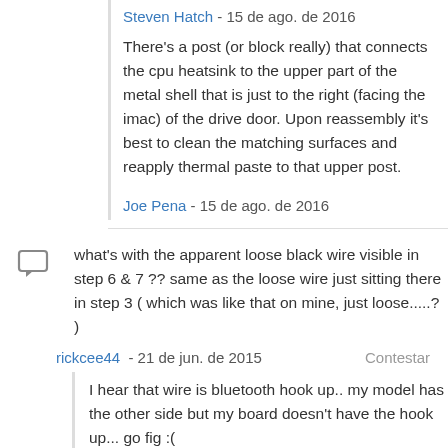Steven Hatch - 15 de ago. de 2016
There's a post (or block really) that connects the cpu heatsink to the upper part of the metal shell that is just to the right (facing the imac) of the drive door. Upon reassembly it's best to clean the matching surfaces and reapply thermal paste to that upper post.
Joe Pena - 15 de ago. de 2016
what's with the apparent loose black wire visible in step 6 & 7 ?? same as the loose wire just sitting there in step 3 ( which was like that on mine, just loose.....? )
rickcee44 - 21 de jun. de 2015
I hear that wire is bluetooth hook up.. my model has the other side but my board doesn't have the hook up... go fig :(